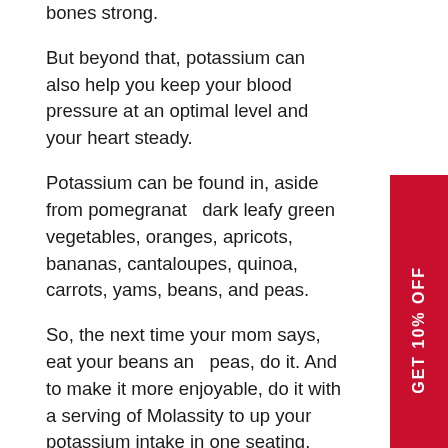bones strong.
But beyond that, potassium can also help you keep your blood pressure at an optimal level and your heart steady.
Potassium can be found in, aside from pomegranate, dark leafy green vegetables, oranges, apricots, bananas, cantaloupes, quinoa, carrots, yams, beans, and peas.
So, the next time your mom says, eat your beans and peas, do it. And to make it more enjoyable, do it with a serving of Molassity to up your potassium intake in one seating.